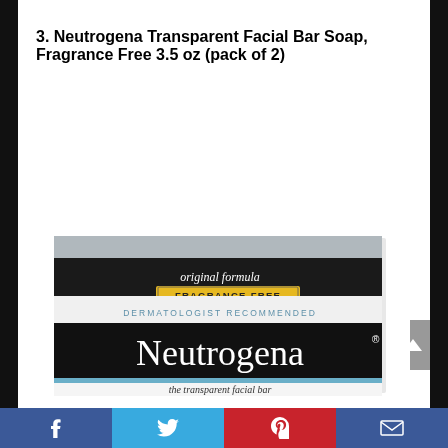3. Neutrogena Transparent Facial Bar Soap, Fragrance Free 3.5 oz (pack of 2)
[Figure (photo): Neutrogena Transparent Facial Bar Soap box — white and black packaging showing 'original formula', 'FRAGRANCE-FREE', 'DERMATOLOGIST RECOMMENDED', 'Neutrogena' brand name, and 'the transparent facial bar' text]
Facebook | Twitter | Pinterest | Email